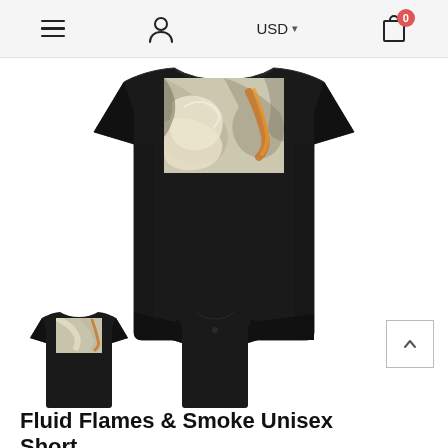≡  👤  USD ∨  🛒 0
[Figure (photo): Black unisex t-shirt laid flat showing a fluid flames and smoke art print on the upper chest/back area. The print features swirling cream, gray, and orange abstract patterns.]
[Figure (photo): Small thumbnail of the back of the black t-shirt with the fluid flames print visible.]
[Figure (photo): Small thumbnail of the front of the black t-shirt, plain black.]
Fluid Flames & Smoke Unisex Short